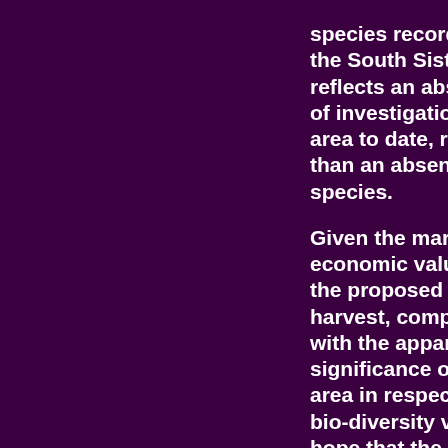species records in the South Sister area reflects an absence of investigation of the area to date, rather than an absence of species.
Given the marginal economic value of the proposed timber harvest, compared with the apparent significance of the area in respect of its bio-diversity values, I hope that the EPA